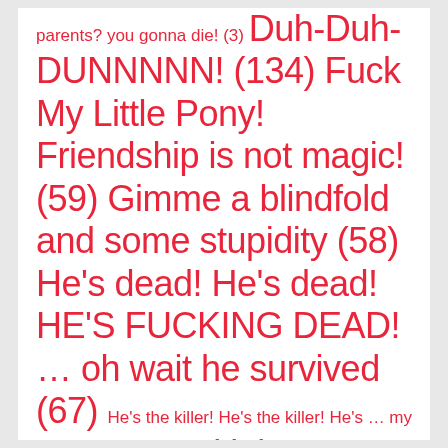parents? you gonna die! (3) Duh-Duh-DUNNNNN! (134) Fuck My Little Pony! Friendship is not magic! (59) Gimme a blindfold and some stupidity (58) He's dead! He's dead! HE'S FUCKING DEAD! … oh wait he survived (67) He's the killer! He's the killer! He's … my LOVAH! (13) Head injury? Walk it off (31) Hypocrites are hypocritical (12) I beat you because I love you